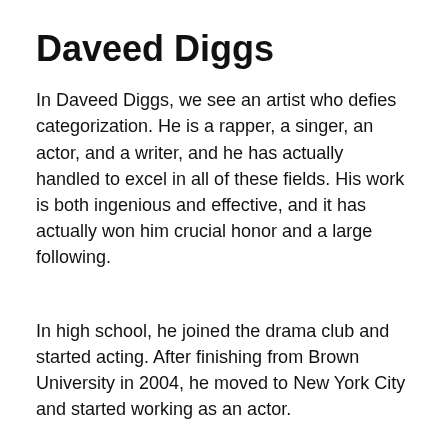Daveed Diggs
In Daveed Diggs, we see an artist who defies categorization. He is a rapper, a singer, an actor, and a writer, and he has actually handled to excel in all of these fields. His work is both ingenious and effective, and it has actually won him crucial honor and a large following.
In high school, he joined the drama club and started acting. After finishing from Brown University in 2004, he moved to New York City and started working as an actor.